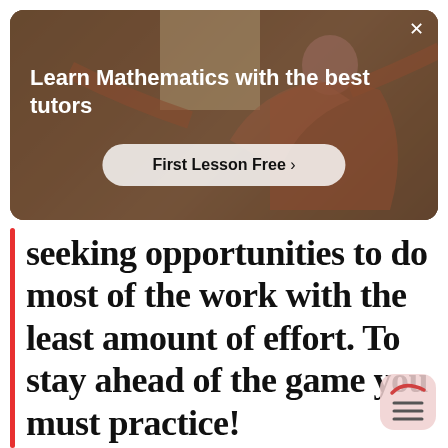[Figure (screenshot): Advertisement banner for mathematics tutoring service. Shows a person with arms extended in a classroom background. Contains headline 'Learn Mathematics with the best tutors' and a 'First Lesson Free >' button.]
seeking opportunities to do most of the work with the least amount of effort. To stay ahead of the game you must practice!